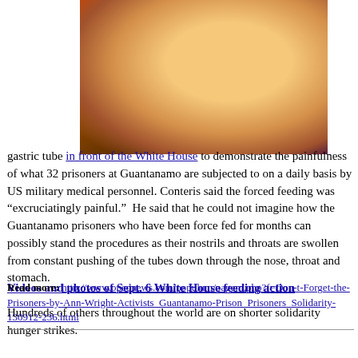[Figure (photo): Colorful illustration or photo showing a face with open mouth, with orange, red, blue and purple tones, depicting forced feeding.]
gastric tube in front of the White House to demonstrate the painfulness of what 32 prisoners at Guantanamo are subjected to on a daily basis by US military medical personnel. Conteris said the forced feeding was “excruciatingly painful.”  He said that he could not imagine how the Guantanamo prisoners who have been force fed for months can possibly stand the procedures as their nostrils and throats are swollen from constant pushing of the tubes down through the nose, throat and stomach.
Videos and photos of Sept. 6 White House feeding action
Hundreds of others throughout the world are on shorter solidarity hunger strikes.
Read more: http://www.opednews.com/populum/pagem.php?f=Don-t-Forget-the-Prisoners-by-Ann-Wright-Activists_Guantanamo-Prison_Prisoners_Solidarity-130912-236.html